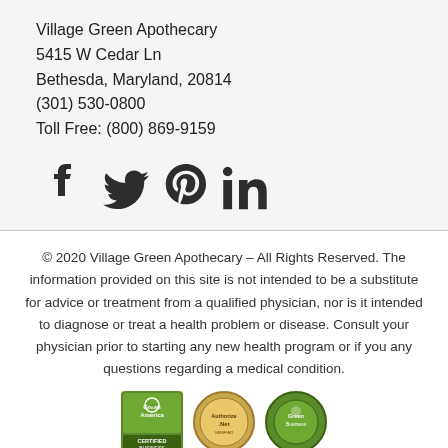Village Green Apothecary
5415 W Cedar Ln
Bethesda, Maryland, 20814
(301) 530-0800
Toll Free: (800) 869-9159
[Figure (infographic): Social media icons: Facebook, Twitter, Pinterest, LinkedIn]
© 2020 Village Green Apothecary – All Rights Reserved. The information provided on this site is not intended to be a substitute for advice or treatment from a qualified physician, nor is it intended to diagnose or treat a health problem or disease. Consult your physician prior to starting any new health program or if you any questions regarding a medical condition.
[Figure (logo): Three certification/trust badges: Green America Certified Business, Authorize.Net, and a green circular badge]